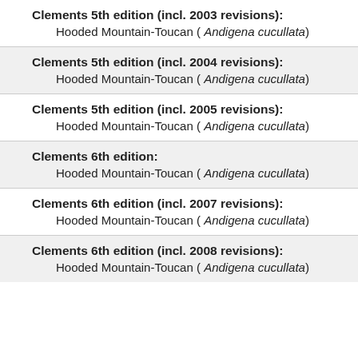Clements 5th edition (incl. 2003 revisions):
Hooded Mountain-Toucan ( Andigena cucullata)
Clements 5th edition (incl. 2004 revisions):
Hooded Mountain-Toucan ( Andigena cucullata)
Clements 5th edition (incl. 2005 revisions):
Hooded Mountain-Toucan ( Andigena cucullata)
Clements 6th edition:
Hooded Mountain-Toucan ( Andigena cucullata)
Clements 6th edition (incl. 2007 revisions):
Hooded Mountain-Toucan ( Andigena cucullata)
Clements 6th edition (incl. 2008 revisions):
Hooded Mountain-Toucan ( Andigena cucullata)